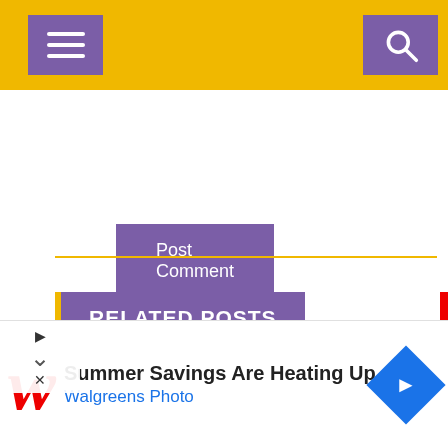Navigation bar with menu and search icons
Post Comment
RELATED POSTS
[Figure (photo): Formula 1 racing car in blue and red livery, driver with Red Bull branded helmet visible in cockpit]
[Figure (infographic): Advertisement: Summer Savings Are Heating Up - Walgreens Photo]